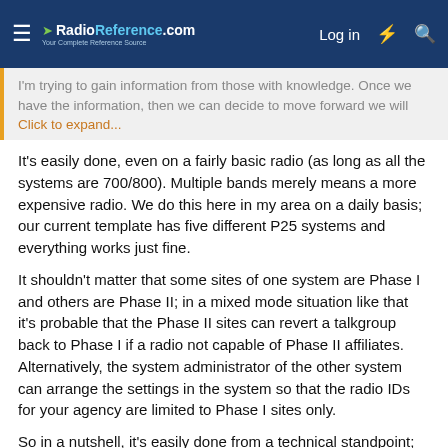RadioReference.com — Log in
I'm trying to gain information from those with knowledge. Once we have the information, then we can decide to move forward we will — Click to expand...
It's easily done, even on a fairly basic radio (as long as all the systems are 700/800). Multiple bands merely means a more expensive radio. We do this here in my area on a daily basis; our current template has five different P25 systems and everything works just fine.
It shouldn't matter that some sites of one system are Phase I and others are Phase II; in a mixed mode situation like that it's probable that the Phase II sites can revert a talkgroup back to Phase I if a radio not capable of Phase II affiliates. Alternatively, the system administrator of the other system can arrange the settings in the system so that the radio IDs for your agency are limited to Phase I sites only.
So in a nutshell, it's easily done from a technical standpoint; whether the system administrators are willing to make it happen is another matter. (I'd find it unusual if they did not want to make